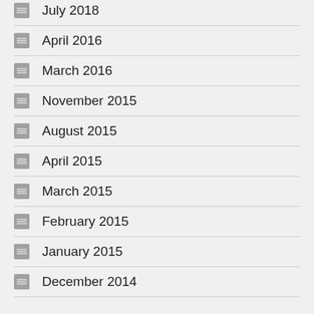July 2018
April 2016
March 2016
November 2015
August 2015
April 2015
March 2015
February 2015
January 2015
December 2014